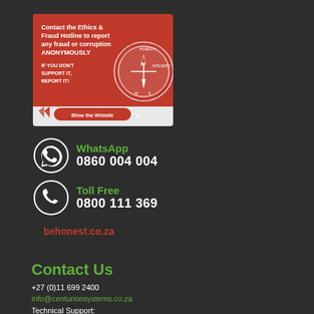[Figure (infographic): Ethics & Fraud Hotline banner with compass image and 'Blow the Whistle' button on red background]
WhatsApp
0860 004 004
Toll Free
0800 111 369
behonest.co.za
Contact Us
+27 (0)11 699 2400
info@centurionsystems.co.za
Technical Support: